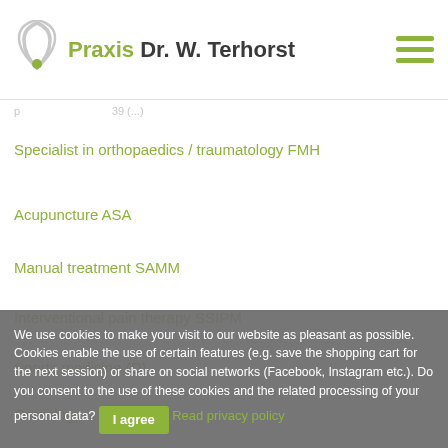Praxis Dr. W. Terhorst
p ... 39 (...)
Specialist in orthopaedics / traumatology FMH
Acupuncture ASA
Manual treatment SAMM
Interventional pain therapy SSIPM
Sports medicine (D)
Osteology
Mrs. Stefania Minosa
We use cookies to make your visit to our website as pleasant as possible. Cookies enable the use of certain features (e.g. save the shopping cart for the next session) or share on social networks (Facebook, Instagram etc.). Do you consent to the use of these cookies and the related processing of your personal data? I agree Read privacy policy